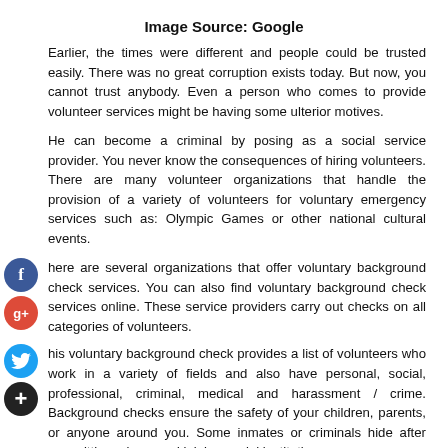Image Source: Google
Earlier, the times were different and people could be trusted easily. There was no great corruption exists today. But now, you cannot trust anybody. Even a person who comes to provide volunteer services might be having some ulterior motives.
He can become a criminal by posing as a social service provider. You never know the consequences of hiring volunteers. There are many volunteer organizations that handle the provision of a variety of volunteers for voluntary emergency services such as: Olympic Games or other national cultural events.
There are several organizations that offer voluntary background check services. You can also find voluntary background check services online. These service providers carry out checks on all categories of volunteers.
This voluntary background check provides a list of volunteers who work in a variety of fields and also have personal, social, professional, criminal, medical and harassment / crime. Background checks ensure the safety of your children, parents, or anyone around you. Some inmates or criminals hide after committing crimes and joining social institutions.